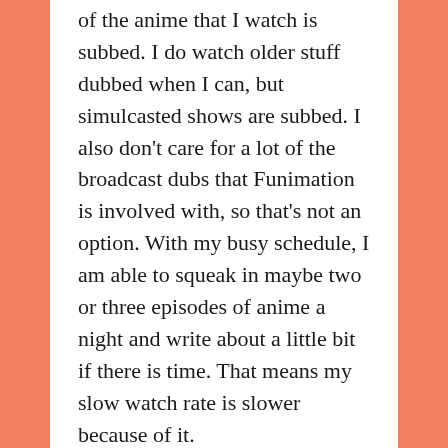of the anime that I watch is subbed. I do watch older stuff dubbed when I can, but simulcasted shows are subbed. I also don't care for a lot of the broadcast dubs that Funimation is involved with, so that's not an option. With my busy schedule, I am able to squeak in maybe two or three episodes of anime a night and write about a little bit if there is time. That means my slow watch rate is slower because of it.
2) Pressure to Post
Maybe this is just me, but I always feel this mental pressure to have a post up as soon as possible. When I don't have time to write a post, I never mentally feel alright with myself